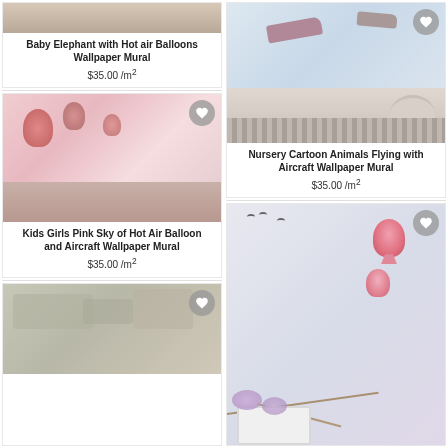[Figure (photo): Baby elephant with hot air balloons wallpaper mural shown in a room - top partial image on left column]
Baby Elephant with Hot air Balloons Wallpaper Mural
$35.00 /m²
[Figure (photo): Kids girls pink sky with hot air balloons and aircraft wallpaper mural shown in a pink kids bedroom]
Kids Girls Pink Sky of Hot Air Balloon and Aircraft Wallpaper Mural
$35.00 /m²
[Figure (photo): World map wallpaper mural with hot air balloons and animals, partially visible]
[Figure (photo): Nursery cartoon animals flying with aircraft wallpaper mural shown in a children's room]
Nursery Cartoon Animals Flying with Aircraft Wallpaper Mural
$35.00 /m²
[Figure (photo): Hot air balloon with cherry blossom trees and birds wallpaper mural shown in a nursery room]